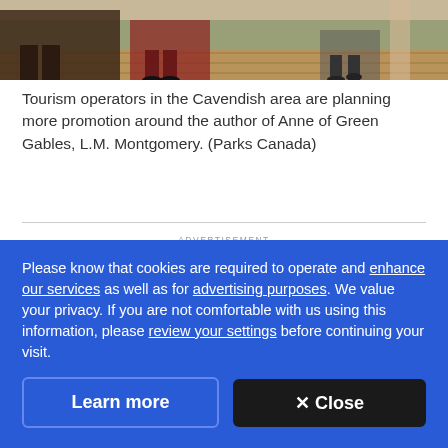[Figure (photo): Bottom portion of a photo showing people's feet and legs on a wooden deck or porch, with greenery visible in the background.]
Tourism operators in the Cavendish area are planning more promotion around the author of Anne of Green Gables, L.M. Montgomery. (Parks Canada)
ADVERTISEMENT
The chair will likely develop more courses on
Please know that cookies are required to operate and enhance our services as well as for advertising purposes. We value your privacy. If you are not comfortable with us using this information, please review your settings before continuing your visit.
Learn more
✕ Close